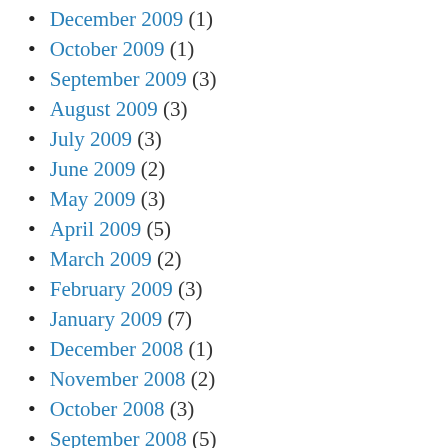December 2009 (1)
October 2009 (1)
September 2009 (3)
August 2009 (3)
July 2009 (3)
June 2009 (2)
May 2009 (3)
April 2009 (5)
March 2009 (2)
February 2009 (3)
January 2009 (7)
December 2008 (1)
November 2008 (2)
October 2008 (3)
September 2008 (5)
August 2008 (3)